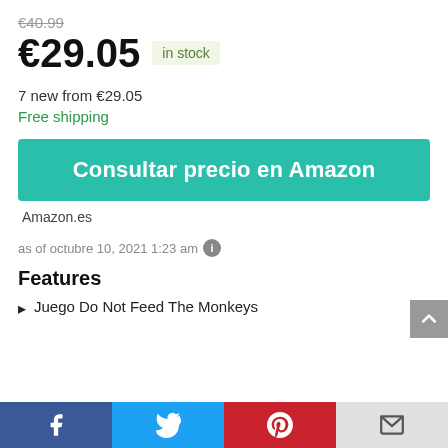€40.99
€29.05  in stock
7 new from €29.05
Free shipping
Consultar precio en Amazon
Amazon.es
as of octubre 10, 2021 1:23 am
Features
Juego Do Not Feed The Monkeys
[Figure (other): Social media share bar with Facebook, Twitter, Pinterest, and Email buttons]